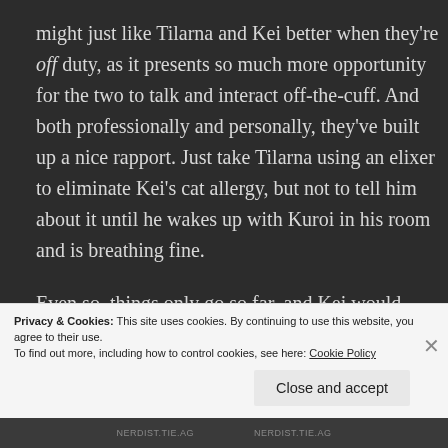might just like Tilarna and Kei better when they're off duty, as it presents so much more opportunity for the two to talk and interact off-the-cuff. And both professionally and personally, they've built up a nice rapport. Just take Tilarna using an elixer to eliminate Kei's cat allergy, but not to tell him about it until he wakes up with Kuroi in his room and is breathing fine.
Even so, things only go so far, and Kei would rather continue to live alone, so he's trying to find a place for Tilarna, with little success (realtors in San Teresa are
Privacy & Cookies: This site uses cookies. By continuing to use this website, you agree to their use.
To find out more, including how to control cookies, see here: Cookie Policy
Close and accept
NERDIST.TIE.AG                    NERDIST.TIE.AG